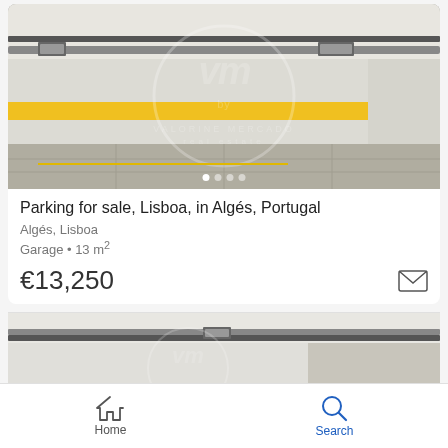[Figure (photo): Interior of an underground parking garage with a yellow stripe on the white wall, overhead gate mechanism visible, watermark overlay of real estate agency logo reading 'VALORINE MERCADO real estate']
Parking for sale, Lisboa, in Algés, Portugal
Algés, Lisboa
Garage • 13 m²
€13,250
[Figure (photo): Partial view of another parking garage listing photo, showing ceiling and wall, partially visible]
Home  Search